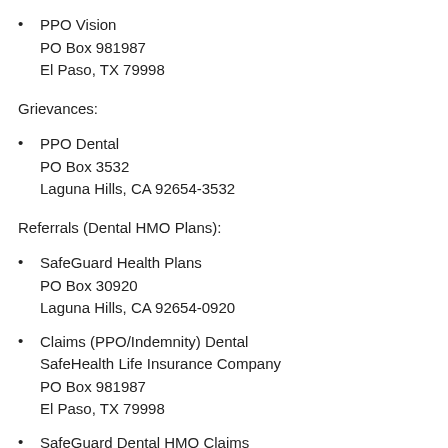PPO Vision
PO Box 981987
El Paso, TX 79998
Grievances:
PPO Dental
PO Box 3532
Laguna Hills, CA 92654-3532
Referrals (Dental HMO Plans):
SafeGuard Health Plans
PO Box 30920
Laguna Hills, CA 92654-0920
Claims (PPO/Indemnity) Dental
SafeHealth Life Insurance Company
PO Box 981987
El Paso, TX 79998
SafeGuard Dental HMO Claims
(Encounters, Utilization, Specialty Care, Referrals)